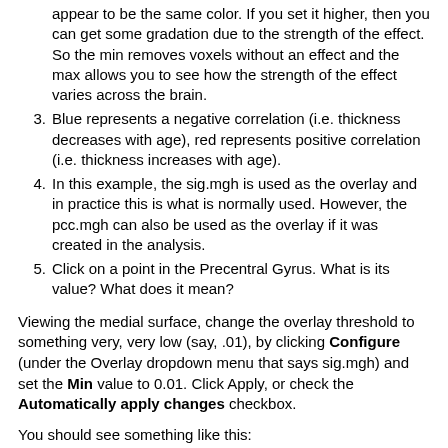appear to be the same color. If you set it higher, then you can get some gradation due to the strength of the effect. So the min removes voxels without an effect and the max allows you to see how the strength of the effect varies across the brain.
3. Blue represents a negative correlation (i.e. thickness decreases with age), red represents positive correlation (i.e. thickness increases with age).
4. In this example, the sig.mgh is used as the overlay and in practice this is what is normally used. However, the pcc.mgh can also be used as the overlay if it was created in the analysis.
5. Click on a point in the Precentral Gyrus. What is its value? What does it mean?
Viewing the medial surface, change the overlay threshold to something very, very low (say, .01), by clicking Configure (under the Overlay dropdown menu that says sig.mgh) and set the Min value to 0.01. Click Apply, or check the Automatically apply changes checkbox.
You should see something like this: